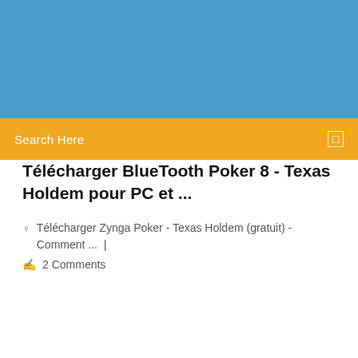[Figure (photo): Blue background header image area]
Search Here
Télécharger BlueTooth Poker 8 - Texas Holdem pour PC et ...
Télécharger Zynga Poker - Texas Holdem (gratuit) - Comment ... |
2 Comments